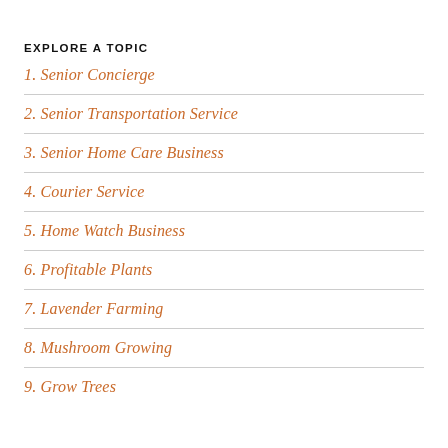EXPLORE A TOPIC
1. Senior Concierge
2. Senior Transportation Service
3. Senior Home Care Business
4. Courier Service
5. Home Watch Business
6. Profitable Plants
7. Lavender Farming
8. Mushroom Growing
9. Grow Trees